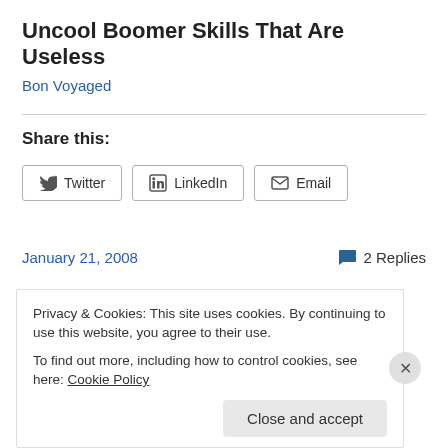Uncool Boomer Skills That Are Useless
Bon Voyaged
Share this:
[Figure (other): Share buttons for Twitter, LinkedIn, and Email]
January 21, 2008    2 Replies
Privacy & Cookies: This site uses cookies. By continuing to use this website, you agree to their use.
To find out more, including how to control cookies, see here: Cookie Policy